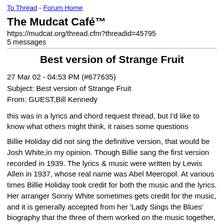To Thread - Forum Home
The Mudcat Café™
https://mudcat.org/thread.cfm?threadid=45795
5 messages
Best version of Strange Fruit
27 Mar 02 - 04:53 PM (#677635)
Subject: Best version of Strange Fruit
From: GUEST,Bill Kennedy
this was in a lyrics and chord request thread, but I'd like to know what others might think, it raises some questions
Billie Holiday did not sing the definitive version, that would be Josh White,in my opinion. Though Billie sang the first version recorded in 1939. The lyrics & music were written by Lewis Allen in 1937, whose real name was Abel Meeropol. At various times Billie Holiday took credit for both the music and the lyrics. Her arranger Sonny White sometimes gets credit for the music, and it is generally accepted from her 'Lady Sings the Blues' biography that the three of them worked on the music together, refining it for